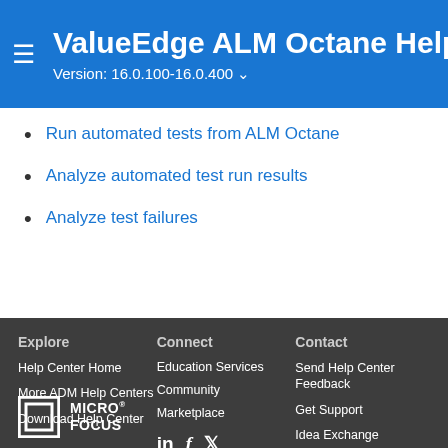ValueEdge ALM Octane Help — Version: 16.0.100-16.0.400
Run automated tests from ALM Octane
Analyze automated test run results
Analyze test failures
Explore
Help Center Home
More ADM Help Centers
Download Help Center
Connect
Education Services
Community
Marketplace
Contact
Send Help Center Feedback
Get Support
Idea Exchange
[Figure (logo): Micro Focus logo with stylized overlapping squares icon and MICRO FOCUS text]